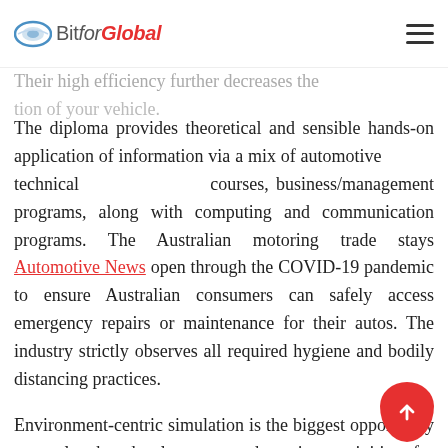BitforGlobal
Their high efficiency further decreases the operation of your vehicle.
The diploma provides theoretical and sensible hands-on application of information via a mix of automotive technical courses, business/management programs, along with computing and communication programs. The Australian motoring trade stays Automotive News open through the COVID-19 pandemic to ensure Australian consumers can safely access emergency repairs or maintenance for their autos. The industry strictly observes all required hygiene and bodily distancing practices.
Environment-centric simulation is the biggest opportunity to scale the development and testing activities for autonomous driving. The extra practical such a virtual world is, the upper will be the validity and acceptance of tests in